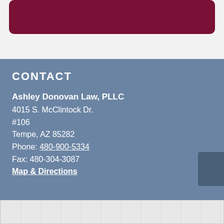CONTACT
Ashley Donovan Law, PLLC
4015 S. McClintock Dr.
#106
Tempe, AZ 85282
Phone: 480-900-5334
Fax: 480-304-3087
Map & Directions
[Figure (map): Map preview thumbnail at bottom of page]